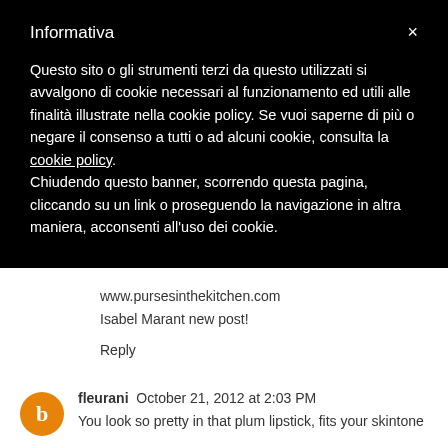Informativa
Questo sito o gli strumenti terzi da questo utilizzati si avvalgono di cookie necessari al funzionamento ed utili alle finalità illustrate nella cookie policy. Se vuoi saperne di più o negare il consenso a tutti o ad alcuni cookie, consulta la cookie policy. Chiudendo questo banner, scorrendo questa pagina, cliccando su un link o proseguendo la navigazione in altra maniera, acconsenti all'uso dei cookie.
www.pursesinthekitchen.com
Isabel Marant new post!
Reply
fleurani October 21, 2012 at 2:03 PM
You look so pretty in that plum lipstick, fits your skintone